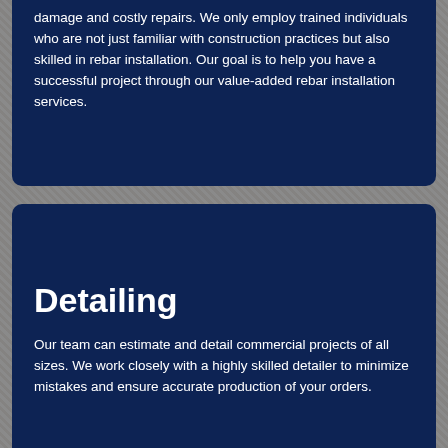damage and costly repairs. We only employ trained individuals who are not just familiar with construction practices but also skilled in rebar installation. Our goal is to help you have a successful project through our value-added rebar installation services.
Detailing
Our team can estimate and detail commercial projects of all sizes. We work closely with a highly skilled detailer to minimize mistakes and ensure accurate production of your orders.
Bending